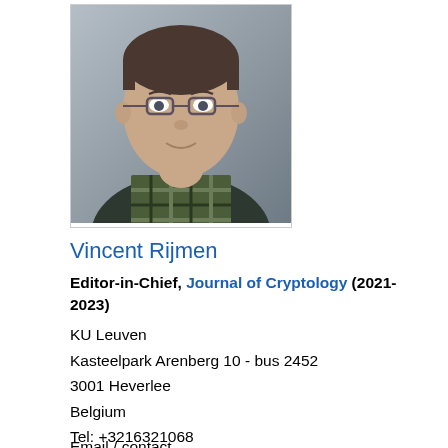[Figure (photo): Headshot photo of Vincent Rijmen, a middle-aged man with glasses wearing a plaid shirt]
Vincent Rijmen
Editor-in-Chief, Journal of Cryptology (2021-2023)
KU Leuven
Kasteelpark Arenberg 10 - bus 2452
3001 Heverlee
Belgium
Tel: +3216321068